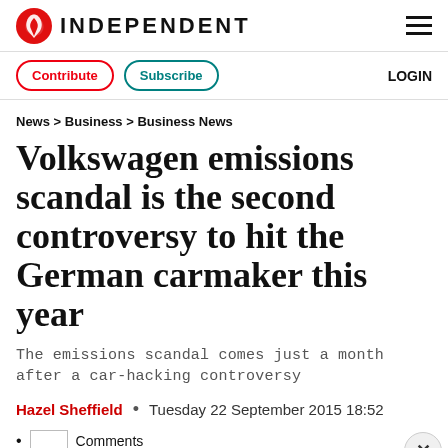INDEPENDENT
Contribute  Subscribe  LOGIN
News > Business > Business News
Volkswagen emissions scandal is the second controversy to hit the German carmaker this year
The emissions scandal comes just a month after a car-hacking controversy
Hazel Sheffield  •  Tuesday 22 September 2015 18:52
• Comments